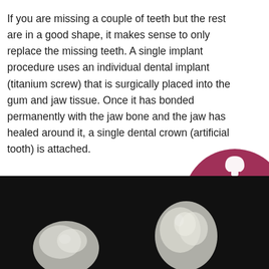If you are missing a couple of teeth but the rest are in a good shape, it makes sense to only replace the missing teeth. A single implant procedure uses an individual dental implant (titanium screw) that is surgically placed into the gum and jaw tissue. Once it has bonded permanently with the jaw bone and the jaw has healed around it, a single dental crown (artificial tooth) is attached.
[Figure (illustration): Circular dark rose/crimson badge with a dental implant icon at top, text 'book consultation' in white, and an arrow pointing to the right at the bottom.]
[Figure (photo): Photo of dental crowns/ceramic tooth models on a black background.]